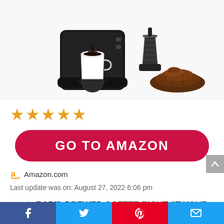[Figure (photo): Black single-serve coffee maker with white ceramic cup filled with black coffee being brewed, a reusable filter basket on the right, and a pile of ground coffee beside it, on white background.]
★★★★★
GO TO AMAZON
Amazon.com
Last update was on: August 27, 2022 6:06 pm
☕ RAPID BREWED COFFEE RIGHT AT YOUR FINGERTIPS: This personal single serve coffee maker will give you that fresh, pure taste that is